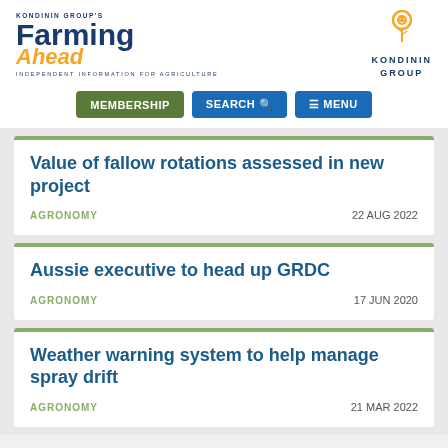[Figure (logo): Kondinin Group's Farming Ahead logo with orange 'Ahead' text and Kondinin Group logo with wheat icon on the right]
[Figure (screenshot): Navigation bar with MEMBERSHIP, SEARCH, and MENU buttons]
Value of fallow rotations assessed in new project
AGRONOMY   22 AUG 2022
Aussie executive to head up GRDC
AGRONOMY   17 JUN 2020
Weather warning system to help manage spray drift
AGRONOMY   21 MAR 2022